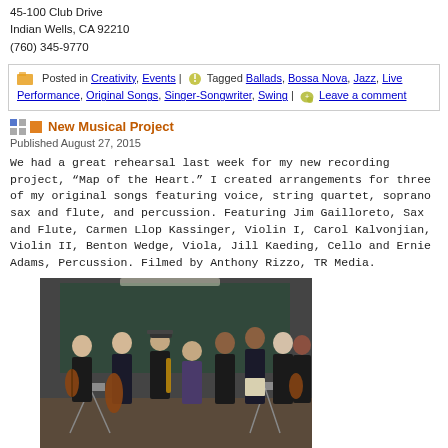45-100 Club Drive
Indian Wells, CA 92210
(760) 345-9770
Posted in Creativity, Events | Tagged Ballads, Bossa Nova, Jazz, Live Performance, Original Songs, Singer-Songwriter, Swing | Leave a comment
New Musical Project
Published August 27, 2015
We had a great rehearsal last week for my new recording project, “Map of the Heart.” I created arrangements for three of my original songs featuring voice, string quartet, soprano sax and flute, and percussion. Featuring Jim Gailloreto, Sax and Flute, Carmen Llop Kassinger, Violin I, Carol Kalvonjian, Violin II, Benton Wedge, Viola, Jill Kaeding, Cello and Ernie Adams, Percussion. Filmed by Anthony Rizzo, TR Media.
[Figure (photo): Group photo of musicians posing together in a rehearsal room, holding string instruments including violins and a cello, along with a saxophone. Eight people standing together in dark clothing.]